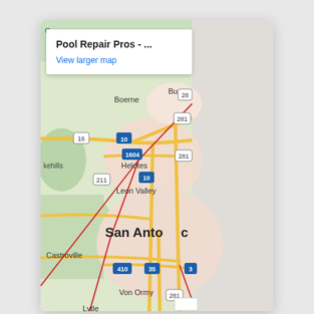[Figure (screenshot): A Google Maps embedded screenshot showing the San Antonio, Texas area including Boerne, Helotes, Leon Valley, Castroville, Von Ormy, Lytle, and surrounding areas. A popup tooltip reads 'Pool Repair Pros - ...' with a 'View larger map' link. Interstate highways 10, 35, 410, 281, 1604, and state routes 16, 211 are visible. The right portion of the map shows a gray/empty area.]